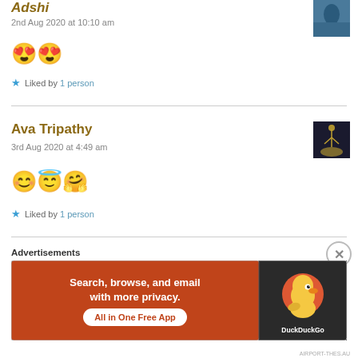Adshi
2nd Aug 2020 at 10:10 am
😍😍
★ Liked by 1 person
Ava Tripathy
3rd Aug 2020 at 4:49 am
😊😇🤗
★ Liked by 1 person
Advertisements
[Figure (infographic): DuckDuckGo advertisement banner: 'Search, browse, and email with more privacy. All in One Free App' with DuckDuckGo logo on dark background]